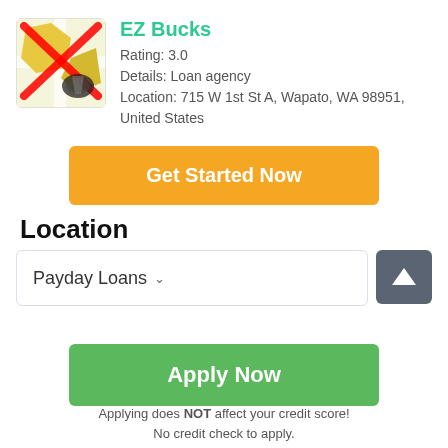[Figure (logo): EZ Bucks logo: a map icon with a red X cross over it and a pencil/marker icon below]
EZ Bucks
Rating: 3.0
Details: Loan agency
Location: 715 W 1st St A, Wapato, WA 98951, United States
Get Started Now
Location
Payday Loans ∨
Apply Now
Applying does NOT affect your credit score!
No credit check to apply.